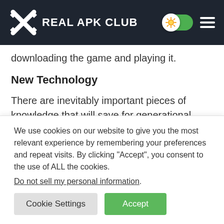REAL APK CLUB
downloading the game and playing it.
New Technology
There are inevitably important pieces of knowledge that will save for generational development even if the world is ruined. In the States of Survival Mod Apk, every player will have various upgrades at their disposal that allow them to improve performance on every mission by
We use cookies on our website to give you the most relevant experience by remembering your preferences and repeat visits. By clicking “Accept”, you consent to the use of ALL the cookies.
Do not sell my personal information.